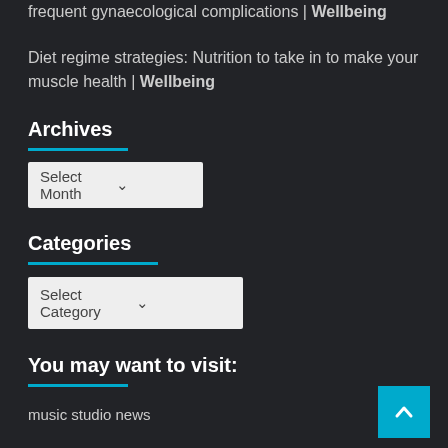frequent gynaecological complications | Wellbeing
Diet regime strategies: Nutrition to take in to make your muscle health | Wellbeing
Archives
[Figure (screenshot): Select Month dropdown box]
Categories
[Figure (screenshot): Select Category dropdown box]
You may want to visit:
music studio news
[Figure (other): Back to top button with upward arrow, cyan background]